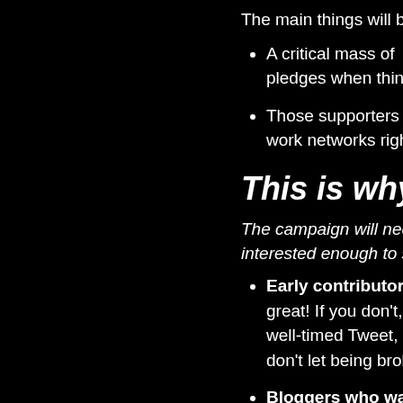The main things will be
A critical mass of pledges when things
Those supporters ge work networks right a
This is why t
The campaign will need interested enough to su
Early contributors great! If you don't, b well-timed Tweet, Fa don't let being broke
Bloggers who want day, but it's a lot mo me a line if there's a started.
Organisational ba